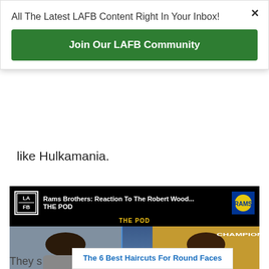All The Latest LAFB Content Right In Your Inbox!
Join Our LAFB Community
like Hulkamania.
[Figure (screenshot): Video thumbnail: Rams Brothers: Reaction To The Robert Wood... THE POD, showing two men on a video call with @NickVez and @Dene_Vez labels]
The 6 Best Haircuts For Round Faces
They s